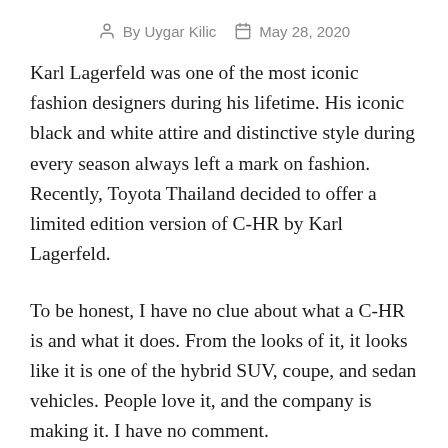By Uygar Kilic   May 28, 2020
Karl Lagerfeld was one of the most iconic fashion designers during his lifetime. His iconic black and white attire and distinctive style during every season always left a mark on fashion. Recently, Toyota Thailand decided to offer a limited edition version of C-HR by Karl Lagerfeld.
To be honest, I have no clue about what a C-HR is and what it does. From the looks of it, it looks like it is one of the hybrid SUV, coupe, and sedan vehicles. People love it, and the company is making it. I have no comment.
Anyway, the Karl Lagerfeld edition of the C-HR looks far better than the original, and it has a distinctive look and feel. Sadly, this edition is only available in the Thai